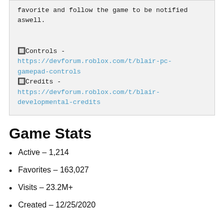favorite and follow the game to be notified aswell.

🔲Controls -
https://devforum.roblox.com/t/blair-pc-gamepad-controls
🔲Credits -
https://devforum.roblox.com/t/blair-developmental-credits
Game Stats
Active – 1,214
Favorites – 163,027
Visits – 23.2M+
Created – 12/25/2020